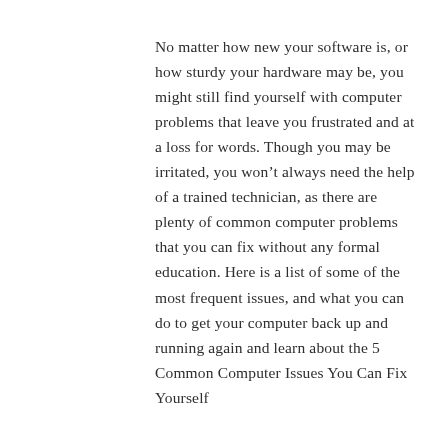No matter how new your software is, or how sturdy your hardware may be, you might still find yourself with computer problems that leave you frustrated and at a loss for words. Though you may be irritated, you won't always need the help of a trained technician, as there are plenty of common computer problems that you can fix without any formal education. Here is a list of some of the most frequent issues, and what you can do to get your computer back up and running again and learn about the 5 Common Computer Issues You Can Fix Yourself